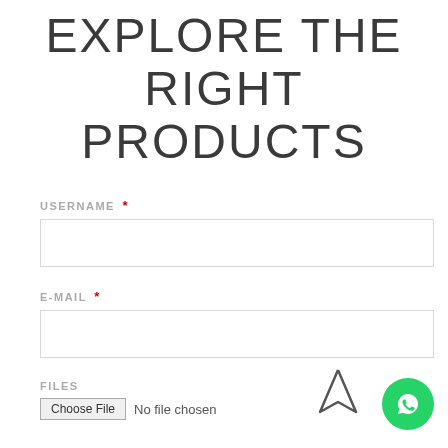EXPLORE THE RIGHT PRODUCTS
USERNAME *
E-MAIL *
FILES
Choose File  No file chosen